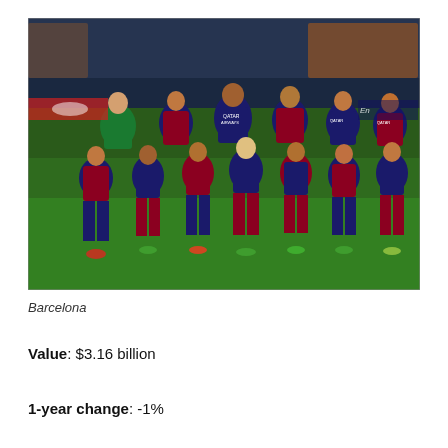[Figure (photo): FC Barcelona team squad photo on football pitch, players wearing blue and red striped QATAR AIRWAYS jerseys, posed in two rows in a stadium at night]
Barcelona
Value: $3.16 billion
1-year change: -1%